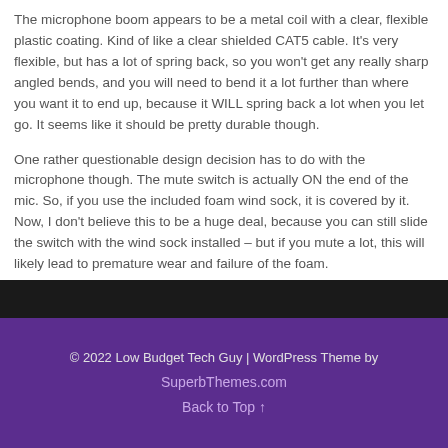The microphone boom appears to be a metal coil with a clear, flexible plastic coating. Kind of like a clear shielded CAT5 cable. It’s very flexible, but has a lot of spring back, so you won’t get any really sharp angled bends, and you will need to bend it a lot further than where you want it to end up, because it WILL spring back a lot when you let go. It seems like it should be pretty durable though.
One rather questionable design decision has to do with the microphone though. The mute switch is actually ON the end of the mic. So, if you use the included foam wind sock, it is covered by it. Now, I don’t believe this to be a huge deal, because you can still slide the switch with the wind sock installed – but if you mute a lot, this will likely lead to premature wear and failure of the foam.
[Figure (photo): Partial dark image strip visible at bottom of content area, appears to be a photo (top edge only visible)]
© 2022 Low Budget Tech Guy | WordPress Theme by SuperbThemes.com
Back to Top ↑